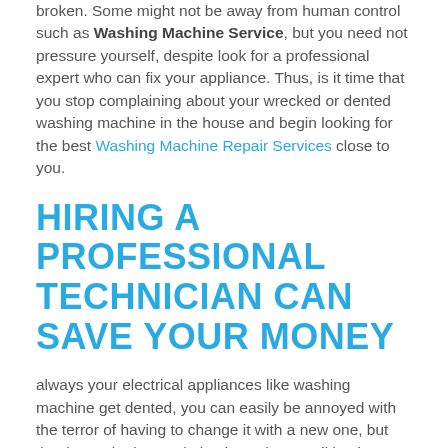broken. Some might not be away from human control such as Washing Machine Service, but you need not pressure yourself, despite look for a professional expert who can fix your appliance. Thus, is it time that you stop complaining about your wrecked or dented washing machine in the house and begin looking for the best Washing Machine Repair Services close to you.
HIRING A PROFESSIONAL TECHNICIAN CAN SAVE YOUR MONEY
always your electrical appliances like washing machine get dented, you can easily be annoyed with the terror of having to change it with a new one, but that is not the best solution in such a condition just continue cool and find the services of a professional Washing Machine